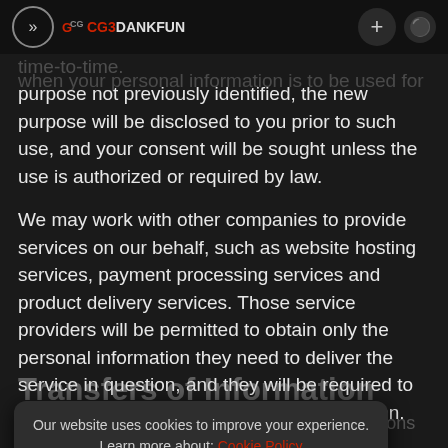>> CG3DANKFUN  +  [user icon]
time-to-time.
when your personal information is to be used for purpose not previously identified, the new purpose will be disclosed to you prior to such use, and your consent will be sought unless the use is authorized or required by law.
We may work with other companies to provide services on our behalf, such as website hosting services, payment processing services and product delivery services. Those service providers will be permitted to obtain only the personal information they need to deliver the service in question, and they will be required to maintain the confidentiality of that information.
Transfers of Information
Cg3dankfun Games is a company with operations around the world. By using the Cg3dankfun services, you acknowledge and agree that your information may be
Our website uses cookies to improve your experience. Learn more about: Cookie Policy
Accept